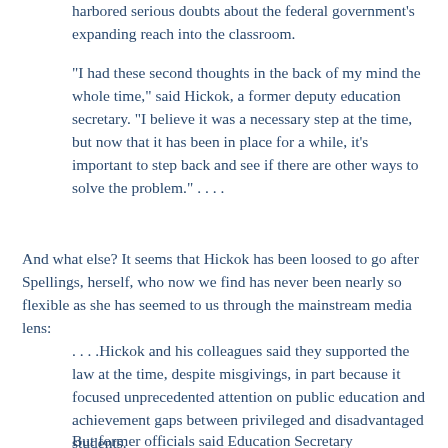harbored serious doubts about the federal government's expanding reach into the classroom.
"I had these second thoughts in the back of my mind the whole time," said Hickok, a former deputy education secretary. "I believe it was a necessary step at the time, but now that it has been in place for a while, it's important to step back and see if there are other ways to solve the problem." . . . .
And what else? It seems that Hickok has been loosed to go after Spellings, herself, who now we find has never been nearly so flexible as she has seemed to us through the mainstream media lens:
. . . .Hickok and his colleagues said they supported the law at the time, despite misgivings, in part because it focused unprecedented attention on public education and achievement gaps between privileged and disadvantaged students.
But former officials said Education Secretary